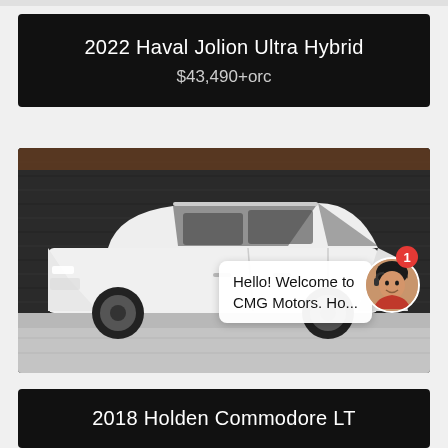2022 Haval Jolion Ultra Hybrid
$43,490+orc
[Figure (photo): White station wagon / hatchback car (Holden Commodore LT style) parked in front of a dark corrugated metal wall, on a concrete surface. A chat bubble overlay reads 'Hello! Welcome to CMG Motors. Ho...' with a female customer service avatar and a red notification badge showing '1'.]
2018 Holden Commodore LT